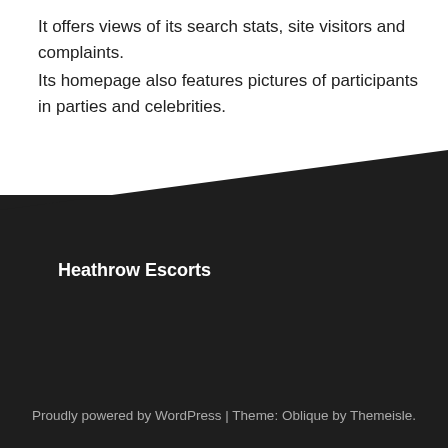It offers views of its search stats, site visitors and complaints.
Its homepage also features pictures of participants in parties and celebrities.
Heathrow Escorts
Proudly powered by WordPress | Theme: Oblique by Themeisle.